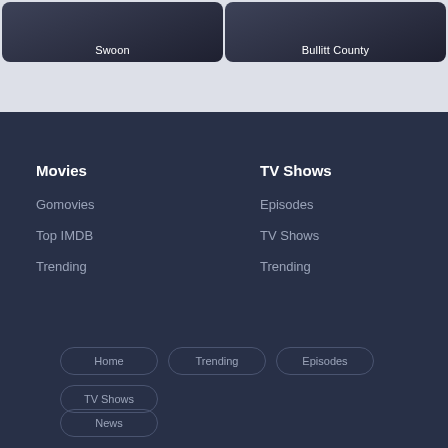[Figure (screenshot): Two movie/show cards side by side: 'Swoon' on the left and 'Bullitt County' on the right, with dark overlaid images and white text labels at the bottom of each card.]
Movies
Gomovies
Top IMDB
Trending
TV Shows
Episodes
TV Shows
Trending
Home   Trending   Episodes   TV Shows   News